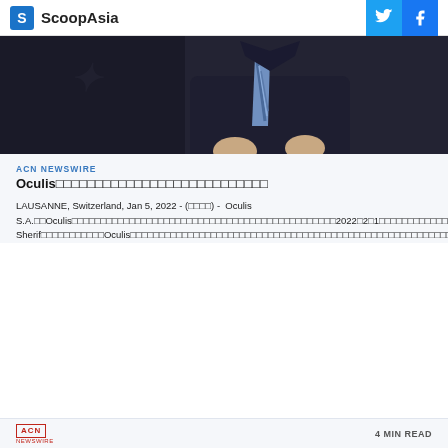ScoopAsia
[Figure (photo): Person in dark suit with striped tie, torso/hands visible, dark background]
ACN NEWSWIRE
Oculis□□□□□□□□□□□□□□□□□□□□□□□
LAUSANNE, Switzerland, Jan 5, 2022 - (□□□□) -  Oculis S.A.□□Oculis□□□□□□□□□□□□□□□□□□□□□□□□□□□□□□□□□□□□□□□□□□□□□□□□□□□2022□2□1□□□□□□□□□□□□□□□□□□□□□□□□□□□□□□□□□□□Oculis□□□□□□□□□□□□□□□□□□□□□□□□□□□□□□□□□□□□□□□□□□□□□□□□□□□□□□□□□□□□□□□□□□□□□□□□□Oculis□□□□Riad Sherif□□□□□□□□□□□□□□Oculis□□□□□□□□□□□□□□□□□□□□□□□□□□□□□□□□□□□□□□□□□□□□□□□□□□□□□□□□□□□□□□□□□□□□□□□□□□□□□□□□□□□□□□□□□□□□□□□□□□□□□□□□□□□□□□
ACN NEWSWIRE   4 MIN READ